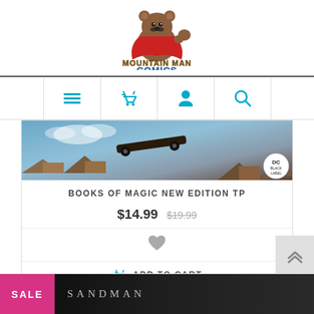[Figure (logo): Mountain Man Comics logo — a cartoon bear wearing a red cape, fist raised, with stylized yellow text 'MOUNTAIN MAN COMICS']
[Figure (screenshot): Navigation bar with four cyan icons: hamburger menu, shopping basket, user/person, and search/magnifying glass]
[Figure (photo): Comic book cover image showing a skateboard flying in the air over a suburban landscape, with DC Black Label badge in bottom right]
BOOKS OF MAGIC NEW EDITION TP
$14.99  $19.99
[Figure (infographic): Gray heart/wishlist icon]
ADD TO CART
[Figure (infographic): Scroll to top double-chevron button]
[Figure (screenshot): Bottom strip showing SALE badge in pink and partial Sandman book cover in dark background]